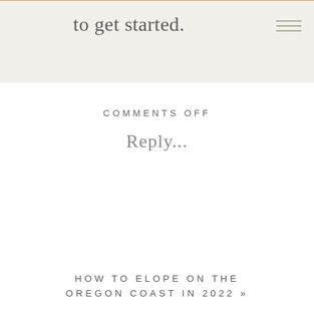to get started.
COMMENTS OFF
Reply...
HOW TO ELOPE ON THE OREGON COAST IN 2022 »